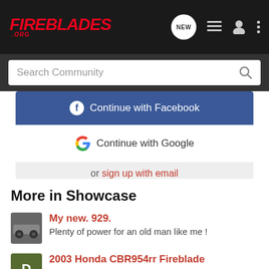FireBlades .org
Search Community
Continue with Facebook
Continue with Google
or sign up with email
More in Showcase
My new. 929.
Plenty of power for an old man like me !
2003 Honda CBR954rr Fireblade
This is my RRX only done 18000 miles